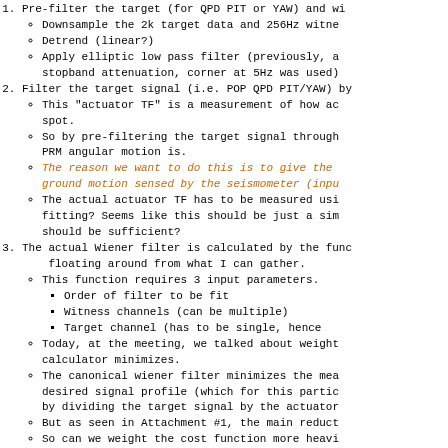1. Pre-filter the target (for QPD PIT or YAW) and witness
Downsample the 2k target data and 256Hz witne
Detrend (linear?)
Apply elliptic low pass filter (previously, a stopband attenuation, corner at 5Hz was used)
2. Filter the target signal (i.e. POP QPD PIT/YAW) by
This "actuator TF" is a measurement of how ac spot.
So by pre-filtering the target signal through PRM angular motion is.
The reason we want to do this is to give the ground motion sensed by the seismometer (inpu
The actual actuator TF has to be measured usi fitting? Seems like this should be just a sim should be sufficient?
3. The actual Wiener filter is calculated by the func floating around from what I can gather.
This function requires 3 input parameters.
Order of filter to be fit
Witness channels (can be multiple)
Target channel (has to be single, hence
Today, at the meeting, we talked about weight calculator minimizes.
The canonical wiener filter minimizes the mea desired signal profile (which for this partic by dividing the target signal by the actuator
But as seen in Attachment #1, the main reduct
So can we weight the cost function more heavi looks like this weighting happens in the pre-filtering stage, which is of the Weiner filter? The PSD and acf are F.T. pairs per the Wiener-